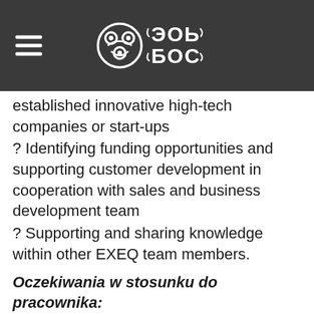[Figure (logo): EXEQ company logo with decorative monogram on dark background header with hamburger menu icon]
established innovative high-tech companies or start-ups
? Identifying funding opportunities and supporting customer development in cooperation with sales and business development team
? Supporting and sharing knowledge within other EXEQ team members.
Oczekiwania w stosunku do pracownika:
SOFT SKILLS
? You know how to ask the right questions
? You like understanding why?. you like debating and challenging the status quo
? Learning new things is fun for you
? You are curious about everything, regardless the domain
? You have considered becoming science and technology